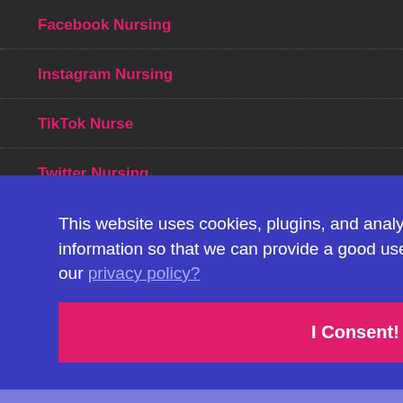Facebook Nursing
Instagram Nursing
TikTok Nurse
Twitter Nursing
This website uses cookies, plugins, and analytics software to collect basic information so that we can provide a good user experience. Do you consent to our privacy policy?
I Consent!
e free
SUBMIT